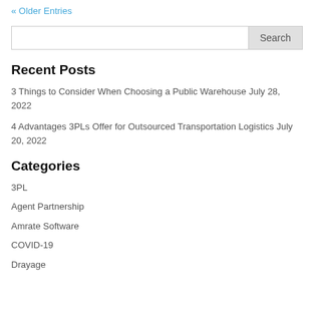« Older Entries
Search
Recent Posts
3 Things to Consider When Choosing a Public Warehouse July 28, 2022
4 Advantages 3PLs Offer for Outsourced Transportation Logistics July 20, 2022
Categories
3PL
Agent Partnership
Amrate Software
COVID-19
Drayage